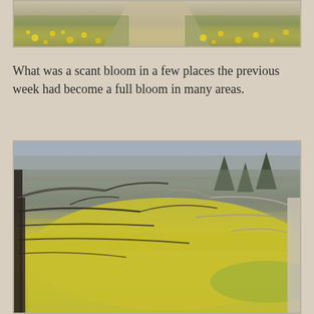[Figure (photo): Top photo showing a gravel path flanked by grass and yellow dandelions blooming on both sides.]
What was a scant bloom in a few places the previous week had become a full bloom in many areas.
[Figure (photo): Landscape photo showing a field covered with yellow dandelions in full bloom, with bare tree branches in the foreground and a forest of bare deciduous trees and evergreens in the background.]